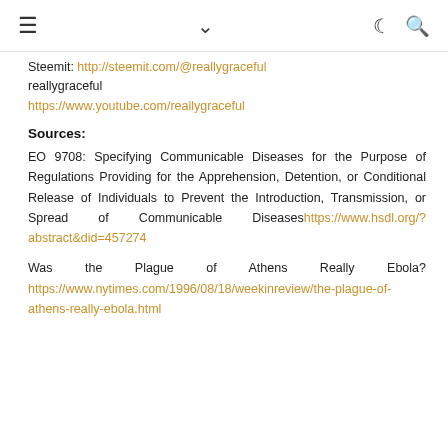≡ ∨ ☾ 🔍
Steemit: http://steemit.com/@reallygraceful reallygraceful
https://www.youtube.com/reallygraceful
Sources:
EO 9708: Specifying Communicable Diseases for the Purpose of Regulations Providing for the Apprehension, Detention, or Conditional Release of Individuals to Prevent the Introduction, Transmission, or Spread of Communicable Diseases https://www.hsdl.org/?abstract&did=457274
Was the Plague of Athens Really Ebola? https://www.nytimes.com/1996/08/18/weekinreview/the-plague-of-athens-really-ebola.html